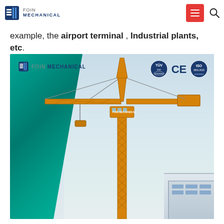FOIN MECHANICAL
example, the airport terminal , Industrial plants, etc.
[Figure (photo): Tower crane at a construction site with green scaffolding netting on the left side of a building. The crane is orange/yellow colored. Certification badges (TÜV, CE, ISO) are visible in the top right corner of the photo. FOIN MECHANICAL logo appears in the top left. Blue sky in background with a building visible at bottom right.]